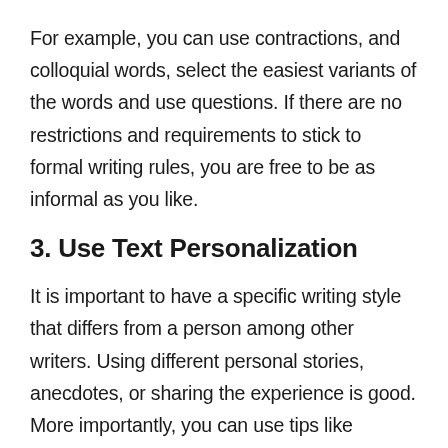For example, you can use contractions, and colloquial words, select the easiest variants of the words and use questions. If there are no restrictions and requirements to stick to formal writing rules, you are free to be as informal as you like.
3. Use Text Personalization
It is important to have a specific writing style that differs from a person among other writers. Using different personal stories, anecdotes, or sharing the experience is good. More importantly, you can use tips like